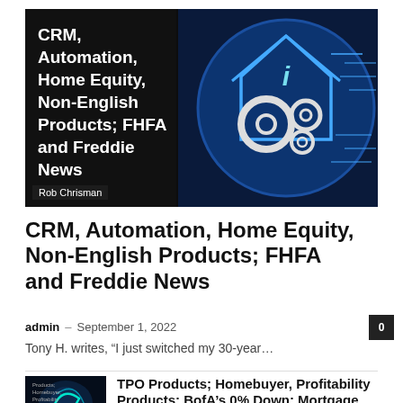[Figure (photo): Hero image with dark background showing a house blueprint with gears and circuit patterns, with text overlay reading 'CRM, Automation, Home Equity, Non-English Products; FHFA and Freddie News' and byline 'Rob Chrisman']
CRM, Automation, Home Equity, Non-English Products; FHFA and Freddie News
admin – September 1, 2022
Tony H. writes, “I just switched my 30-year…
[Figure (photo): Thumbnail image with dark blue/teal cyberpunk style graphic]
TPO Products; Homebuyer, Profitability Products; BofA’s 0% Down; Mortgage Applications Trend…